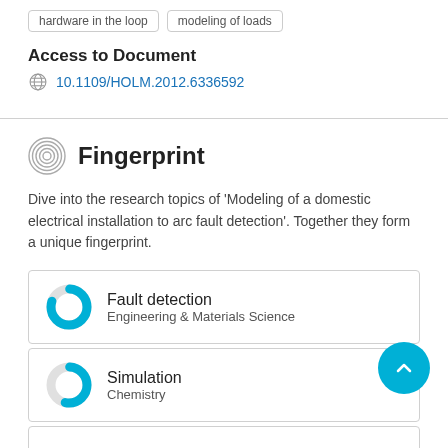hardware in the loop
modeling of loads
Access to Document
10.1109/HOLM.2012.6336592
Fingerprint
Dive into the research topics of 'Modeling of a domestic electrical installation to arc fault detection'. Together they form a unique fingerprint.
Fault detection
Engineering & Materials Science
Simulation
Chemistry